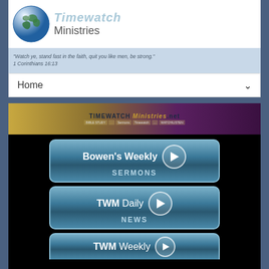[Figure (logo): Globe icon with Timewatch Ministries text logo]
"Watch ye, stand fast in the faith, quit you like men, be strong." 1 Corinthians 16:13
Home
[Figure (screenshot): Timewatch Ministries website banner with navigation links]
[Figure (screenshot): Bowen's Weekly SERMONS button with play icon]
[Figure (screenshot): TWM Daily NEWS button with play icon]
[Figure (screenshot): TWM Weekly button with play icon (partially visible)]